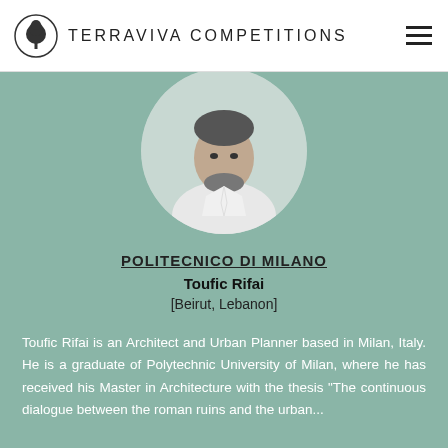TerraViva Competitions
[Figure (photo): Circular black and white profile photo of Toufic Rifai, a young man with a beard wearing a white shirt]
POLITECNICO DI MILANO
Toufic Rifai
[Beirut, Lebanon]
Toufic Rifai is an Architect and Urban Planner based in Milan, Italy. He is a graduate of Polytechnic University of Milan, where he has received his Master in Architecture with the thesis "The continuous dialogue between the roman ruins and the urban...